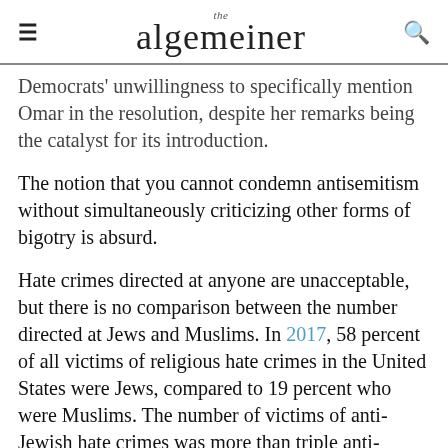the algemeiner
Democrats' unwillingness to specifically mention Omar in the resolution, despite her remarks being the catalyst for its introduction.
The notion that you cannot condemn antisemitism without simultaneously criticizing other forms of bigotry is absurd.
Hate crimes directed at anyone are unacceptable, but there is no comparison between the number directed at Jews and Muslims. In 2017, 58 percent of all victims of religious hate crimes in the United States were Jews, compared to 19 percent who were Muslims. The number of victims of anti-Jewish hate crimes was more than triple anti-Muslim incidents. The urgency of addressing